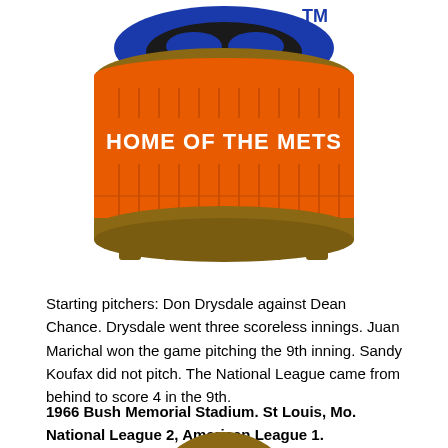[Figure (logo): Shea Stadium logo - circular stadium illustration with orange body labeled 'HOME OF THE METS', brown/gold rim, blue roof accents, with TM trademark symbol]
Starting pitchers: Don Drysdale against Dean Chance. Drysdale went three scoreless innings. Juan Marichal won the game pitching the 9th inning. Sandy Koufax did not pitch. The National League came from behind to score 4 in the 9th.
1966 Bush Memorial Stadium. St Louis, Mo. National League 2, American League 1.
[Figure (logo): Partial circular logo with brown/gold rim and red center showing '1966' text, partially cut off at bottom of page]